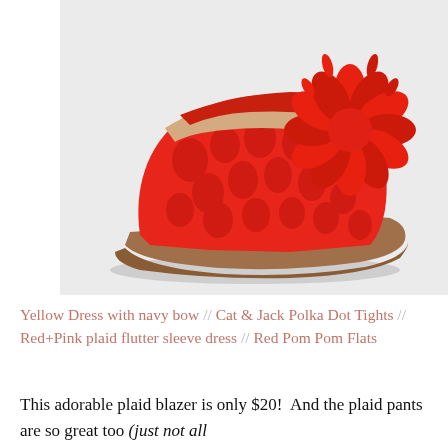[Figure (photo): A red Mary Jane flat shoe with floral/lace texture and a large red pom-pom flower decoration on the toe. The shoe has a strap across the top and a tan/brown sole. Photographed on a light gray background.]
Yellow Dress with navy bow // Cat & Jack Polka Dot Tights // Red+Pink plaid flutter sleeve dress // Red Pom Pom Flats
This adorable plaid blazer is only $20!  And the plaid pants are so great too (just not all